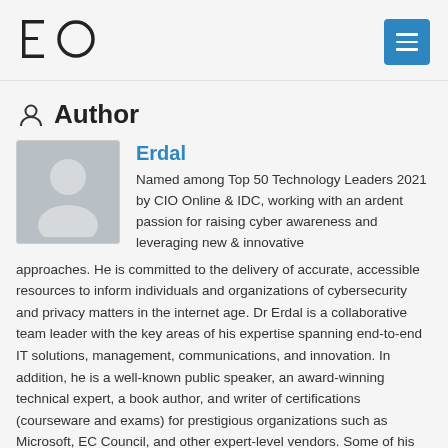[Figure (logo): EO logo with stylized E and circle O]
Author
[Figure (photo): Gray placeholder avatar silhouette]
Erdal
Named among Top 50 Technology Leaders 2021 by CIO Online & IDC, working with an ardent passion for raising cyber awareness and leveraging new & innovative approaches. He is committed to the delivery of accurate, accessible resources to inform individuals and organizations of cybersecurity and privacy matters in the internet age. Dr Erdal is a collaborative team leader with the key areas of his expertise spanning end-to-end IT solutions, management, communications, and innovation. In addition, he is a well-known public speaker, an award-winning technical expert, a book author, and writer of certifications (courseware and exams) for prestigious organizations such as Microsoft, EC Council, and other expert-level vendors. Some of his recent awards are: 2021: Best CISO